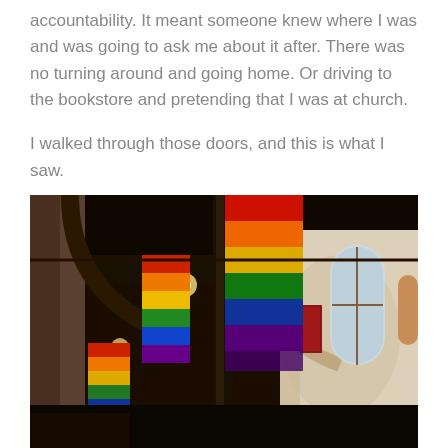accountability. It meant someone knew where I was and was going to ask me about it after. There was no turning around and going home. Or driving to the bookstore and pretending that I was at church.
I walked through those doors, and this is what I saw.
[Figure (photo): Interior of a church with rainbow pride flags hanging from the ceiling/columns. The church has dark wooden arched ceiling beams, brick walls on the left, cream walls on the right with arched windows. Multiple rainbow flags in red, orange, yellow, green, blue, and purple/indigo are visible hanging vertically.]